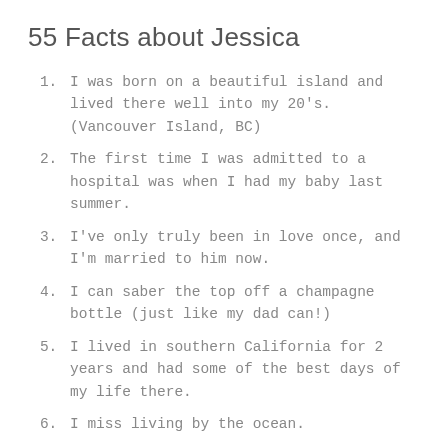55 Facts about Jessica
I was born on a beautiful island and lived there well into my 20's. (Vancouver Island, BC)
The first time I was admitted to a hospital was when I had my baby last summer.
I've only truly been in love once, and I'm married to him now.
I can saber the top off a champagne bottle (just like my dad can!)
I lived in southern California for 2 years and had some of the best days of my life there.
I miss living by the ocean.
I prefer to drive standard cars (stick shift)
My favorite car of all time was my Jeep YJ Wrangler
My husband and I have our own small zoo of about